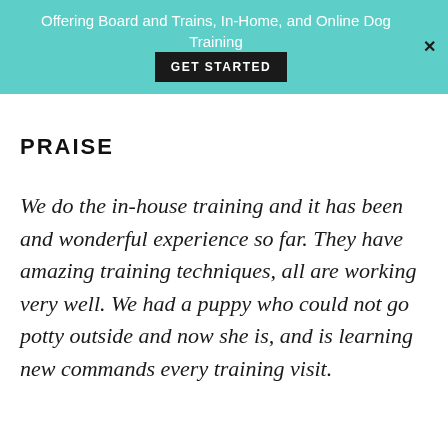Offering Board and Trains, In-Home, and Online Dog Training  GET STARTED
PRAISE
We do the in-house training and it has been and wonderful experience so far. They have amazing training techniques, all are working very well. We had a puppy who could not go potty outside and now she is, and is learning new commands every training visit.